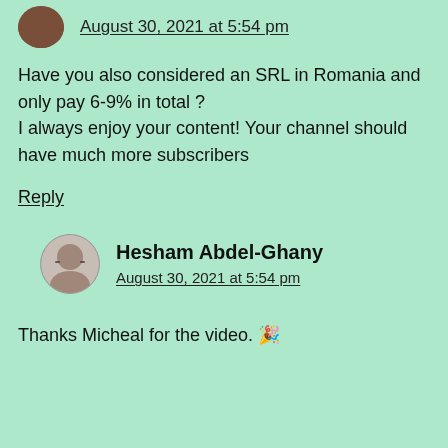August 30, 2021 at 5:54 pm
Have you also considered an SRL in Romania and only pay 6-9% in total ?
I always enjoy your content! Your channel should have much more subscribers
Reply
Hesham Abdel-Ghany
August 30, 2021 at 5:54 pm
Thanks Micheal for the video. 🎉